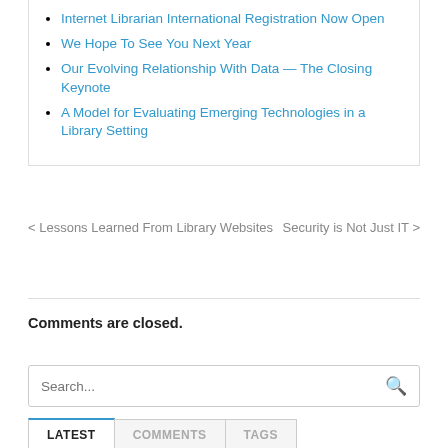Internet Librarian International Registration Now Open
We Hope To See You Next Year
Our Evolving Relationship With Data — The Closing Keynote
A Model for Evaluating Emerging Technologies in a Library Setting
< Lessons Learned From Library Websites    Security is Not Just IT >
Comments are closed.
Search...
LATEST  COMMENTS  TAGS